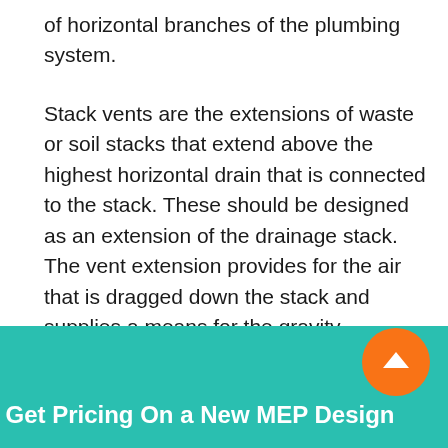of horizontal branches of the plumbing system.
Stack vents are the extensions of waste or soil stacks that extend above the highest horizontal drain that is connected to the stack. These should be designed as an extension of the drainage stack. The vent extension provides for the air that is dragged down the stack and supplies a means for the gravity circulation of air through the vent piping system. The vent stack also prevents excessive pressure from developing in the lower part of the drainage stack.
Get Pricing On a New MEP Design